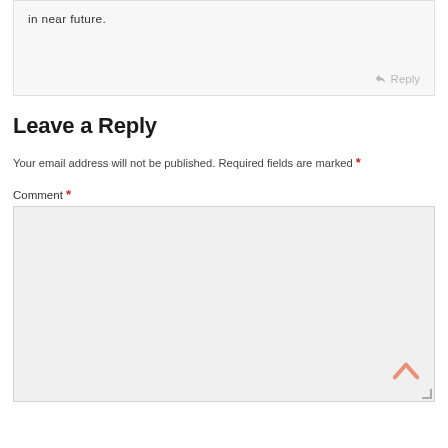in near future.
↩ Reply
Leave a Reply
Your email address will not be published. Required fields are marked *
Comment *